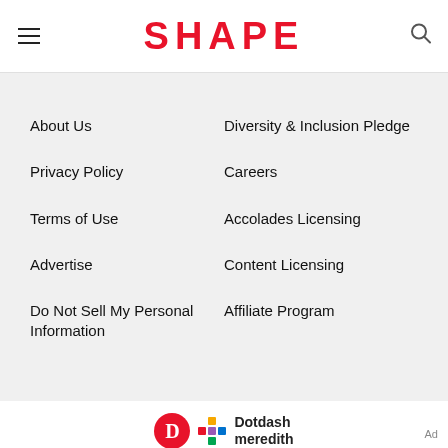SHAPE
About Us
Diversity & Inclusion Pledge
Privacy Policy
Careers
Terms of Use
Accolades Licensing
Advertise
Content Licensing
Do Not Sell My Personal Information
Affiliate Program
[Figure (logo): Dotdash Meredith logo — red circle with D, colorful diamond grid icon, and 'Dotdash meredith' text]
Shape is part of the Dotdash Meredith publishing family